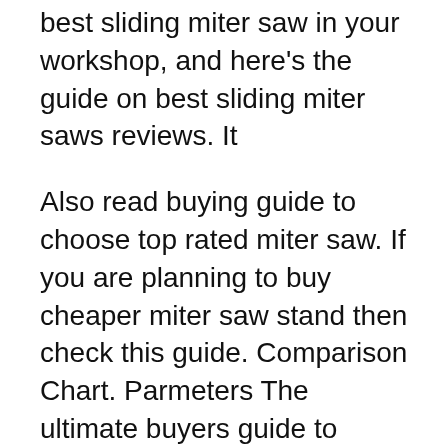best sliding miter saw in your workshop, and here's the guide on best sliding miter saws reviews. It
Also read buying guide to choose top rated miter saw. If you are planning to buy cheaper miter saw stand then check this guide. Comparison Chart. Parmeters The ultimate buyers guide to choose Top rated best miter saw stands which are worth to buy in 2018. We have posted genuine reviews after researching for countless hours.
Our guide for 2017 discusses the 4 different types of miter saw stand, what to consider before buying and reviews the top ten best miter saw stands for